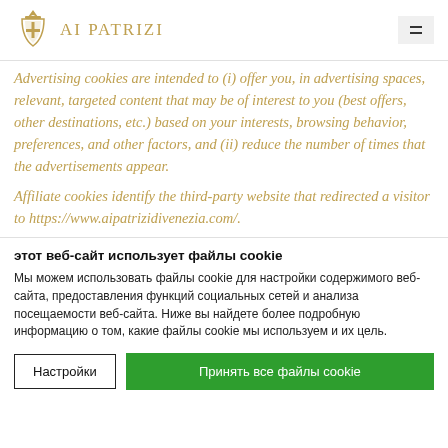AI PATRIZI
Advertising cookies are intended to (i) offer you, in advertising spaces, relevant, targeted content that may be of interest to you (best offers, other destinations, etc.) based on your interests, browsing behavior, preferences, and other factors, and (ii) reduce the number of times that the advertisements appear.
Affiliate cookies identify the third-party website that redirected a visitor to https://www.aipatrizidivenezia.com/.
этот веб-сайт использует файлы cookie
Мы можем использовать файлы cookie для настройки содержимого веб-сайта, предоставления функций социальных сетей и анализа посещаемости веб-сайта. Ниже вы найдете более подробную информацию о том, какие файлы cookie мы используем и их цель.
Настройки | Принять все файлы cookie